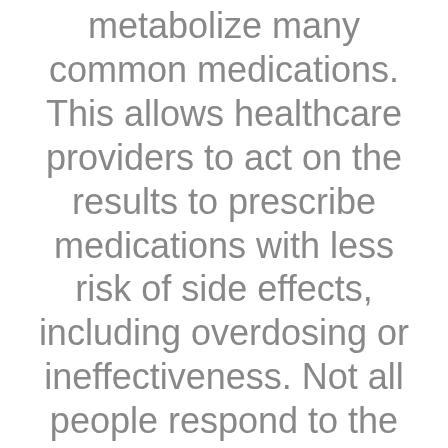metabolize many common medications. This allows healthcare providers to act on the results to prescribe medications with less risk of side effects, including overdosing or ineffectiveness. Not all people respond to the standard dose. Genetic testing helps the provider to select